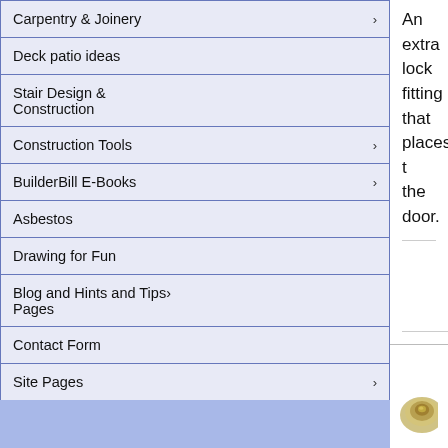Carpentry & Joinery ›
Deck patio ideas
Stair Design & Construction
Construction Tools ›
BuilderBill E-Books ›
Asbestos
Drawing for Fun
Blog and Hints and Tips › Pages
Contact Form
Site Pages ›
An extra lock fitting that places t… the door.
[Figure (photo): A photo of a door lock fitting, partially visible at bottom right of the page.]